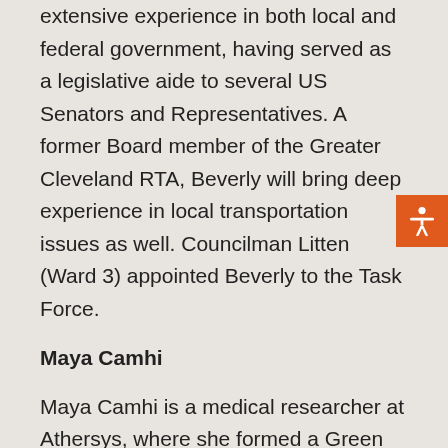extensive experience in both local and federal government, having served as a legislative aide to several US Senators and Representatives. A former Board member of the Greater Cleveland RTA, Beverly will bring deep experience in local transportation issues as well. Councilman Litten (Ward 3) appointed Beverly to the Task Force.
Maya Camhi
Maya Camhi is a medical researcher at Athersys, where she formed a Green Initiatives Committee to advance sustainability initiatives within the company. A graduate of UC-Riverside and Case Western Reserve University's Medical School, Maya brings a strong interest in energy aggregation, waste management, and food systems to the group.